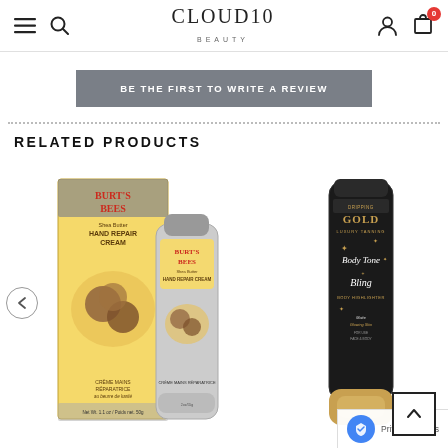Cloud10 Beauty - navigation header with menu, search, logo, user and cart icons
BE THE FIRST TO WRITE A REVIEW
RELATED PRODUCTS
[Figure (photo): Burt's Bees Shea Butter Hand Repair Cream product box and tube]
[Figure (photo): Dripping Gold Body Tone Bling body highlighter product bottle in black and gold]